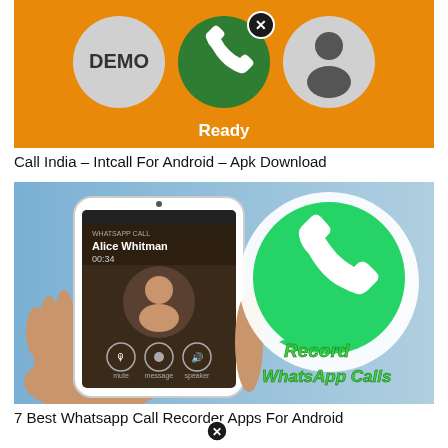[Figure (screenshot): App screenshot showing orange background with three circles: a grey circle with 'DEMO' text, a green circle with a phone handset icon and an X close button, and a grey circle with a person silhouette icon. Below the green circle is the word 'Ready' in white text.]
Call India – Intcall For Android – Apk Download
[Figure (screenshot): Screenshot showing a hand holding a white smartphone displaying a WhatsApp call with 'Alice Whitman' at 00:34. On the right side is a large green WhatsApp logo (speech bubble with phone handset). Text overlay reads 'Record WhatsApp Calls' in green bold italic letters.]
7 Best Whatsapp Call Recorder Apps For Android